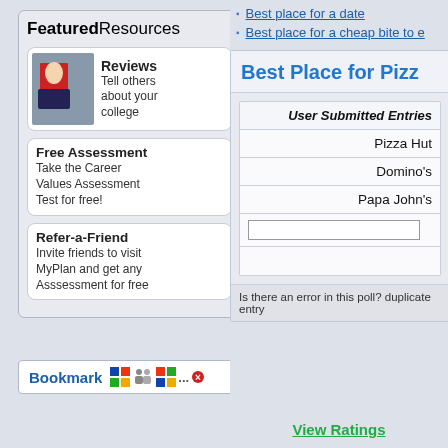Best place for a date
Best place for a cheap bite to e...
FeaturedResources
[Figure (screenshot): Reviews card with person reading a book]
Reviews
Tell others about your college
Free Assessment
Take the Career Values Assessment Test for free!
Refer-a-Friend
Invite friends to visit MyPlan and get any Asssessment for free
Bookmark
Best Place for Pizza
| User Submitted Entries |
| --- |
| Pizza Hut |
| Domino's |
| Papa John's |
|  |
|  |
Is there an error in this poll? duplicate entry...
View Ratings